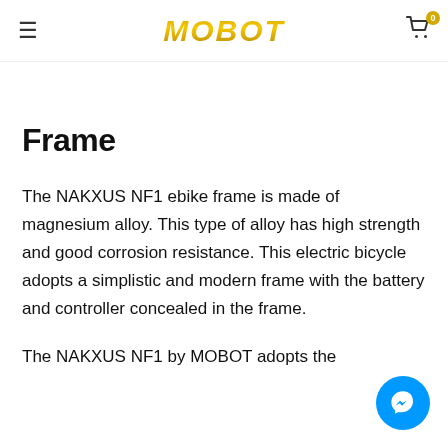MOBOT (navigation header with hamburger menu and cart icon)
Frame
The NAKXUS NF1 ebike frame is made of magnesium alloy. This type of alloy has high strength and good corrosion resistance. This electric bicycle adopts a simplistic and modern frame with the battery and controller concealed in the frame.
The NAKXUS NF1 by MOBOT adopts the